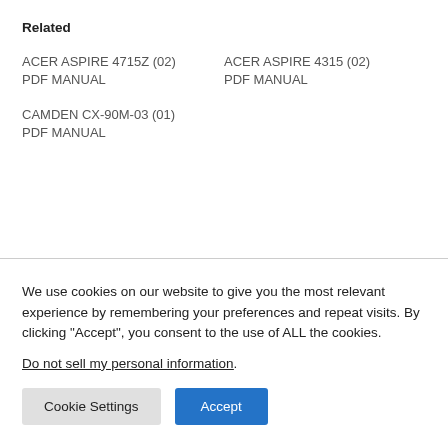Related
ACER ASPIRE 4715Z (02) PDF MANUAL
ACER ASPIRE 4315 (02) PDF MANUAL
CAMDEN CX-90M-03 (01) PDF MANUAL
We use cookies on our website to give you the most relevant experience by remembering your preferences and repeat visits. By clicking “Accept”, you consent to the use of ALL the cookies.
Do not sell my personal information.